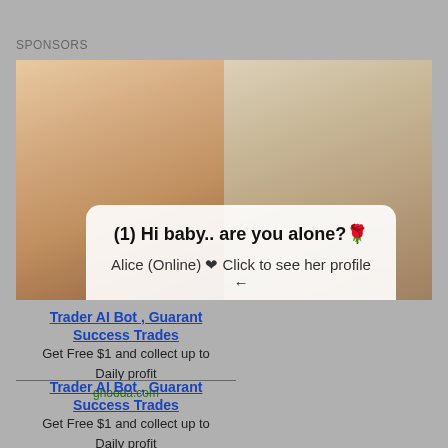SPONSORS
[Figure (screenshot): Two women photos side by side with a popup dialog overlay reading: (1) Hi baby.. are you alone? Alice (Online) ❤ Click to see her profile ← with CANCEL and OK buttons]
Trader AI Bot , Guarant
Success Trades
Get Free $1 and collect up to
Daily profit
ghooda.com
Trader AI Bot , Guarant
Success Trades
Get Free $1 and collect up to
Daily profit
ghooda.com